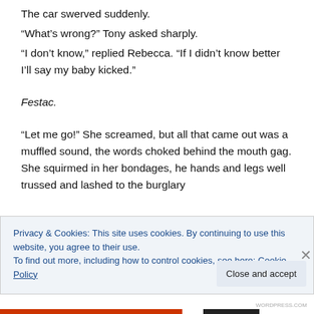The car swerved suddenly.
“What’s wrong?” Tony asked sharply.
“I don’t know,” replied Rebecca. “If I didn’t know better I’ll say my baby kicked.”
Festac.
“Let me go!” She screamed, but all that came out was a muffled sound, the words choked behind the mouth gag. She squirmed in her bondages, he hands and legs well trussed and lashed to the burglary
Privacy & Cookies: This site uses cookies. By continuing to use this website, you agree to their use.
To find out more, including how to control cookies, see here: Cookie Policy
Close and accept